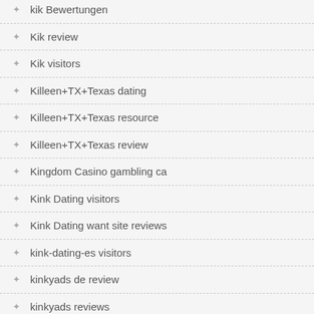kik Bewertungen
Kik review
Kik visitors
Killeen+TX+Texas dating
Killeen+TX+Texas resource
Killeen+TX+Texas review
Kingdom Casino gambling ca
Kink Dating visitors
Kink Dating want site reviews
kink-dating-es visitors
kinkyads de review
kinkyads reviews